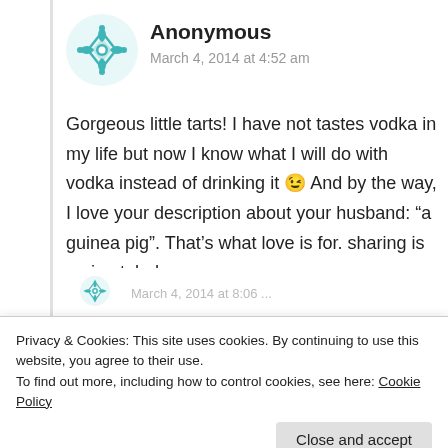[Figure (logo): Teal/turquoise decorative geometric avatar icon for Anonymous commenter]
Anonymous
March 4, 2014 at 4:52 am
Gorgeous little tarts! I have not tastes vodka in my life but now I know what I will do with vodka instead of drinking it 😉 And by the way, I love your description about your husband: “a guinea pig”. That’s what love is for. sharing is caring tehehe.
★ Like
Privacy & Cookies: This site uses cookies. By continuing to use this website, you agree to their use.
To find out more, including how to control cookies, see here: Cookie Policy
Close and accept
[Figure (logo): Teal/turquoise decorative geometric avatar icon partially visible at bottom]